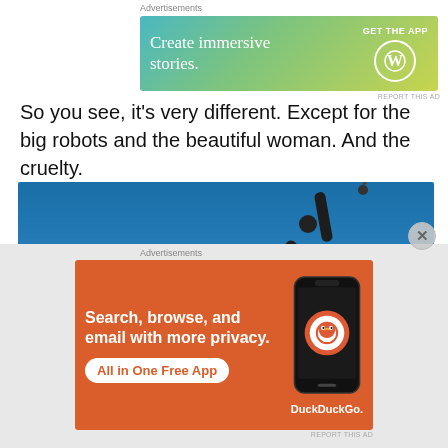Advertisements
[Figure (screenshot): WordPress advertisement banner: 'Create immersive stories.' with GET THE APP button and WordPress logo on a teal-to-yellow gradient background]
REPORT THIS AD
So you see, it's very different. Except for the big robots and the beautiful woman. And the cruelty.
[Figure (photo): A dark metallic scorpion-like robot against a blue sky background, close-up view showing mechanical legs and a raised stinger-like appendage]
Advertisements
[Figure (screenshot): DuckDuckGo advertisement: 'Search, browse, and email with more privacy. All in One Free App' on orange background with phone mockup showing DuckDuckGo logo]
REPORT THIS AD